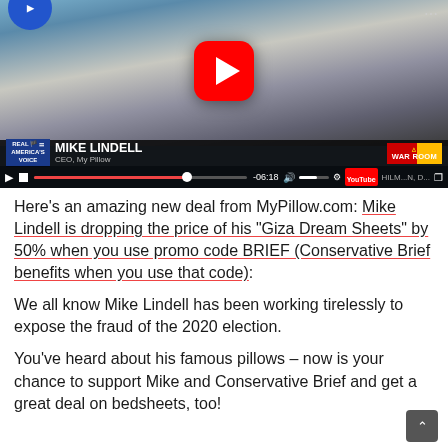[Figure (screenshot): YouTube video thumbnail showing Mike Lindell, CEO of My Pillow, on Real America's Voice / War Room program. Video player shows -06:18 timestamp with progress bar. Large red play button overlay visible.]
Here’s an amazing new deal from MyPillow.com: Mike Lindell is dropping the price of his “Giza Dream Sheets” by 50% when you use promo code BRIEF (Conservative Brief benefits when you use that code):
We all know Mike Lindell has been working tirelessly to expose the fraud of the 2020 election.
You’ve heard about his famous pillows – now is your chance to support Mike and Conservative Brief and get a great deal on bedsheets, too!